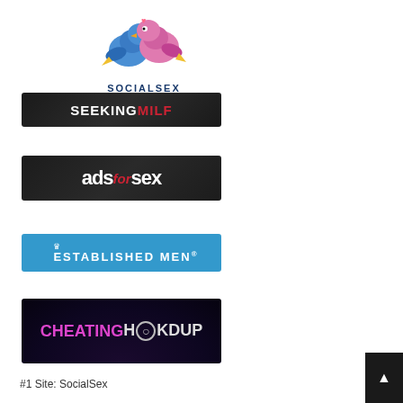[Figure (logo): SocialSex logo with two cartoon birds (blue and pink) facing each other, kissing, with text SOCIALSEX below in dark blue bold uppercase letters]
[Figure (logo): SeekingMILF banner logo on dark gradient background. White bold text SEEKING followed by red bold text MILF]
[Figure (logo): adsforsex banner logo on dark background. White large bold text 'ads', red italic text 'for', white large bold text 'sex']
[Figure (logo): ESTABLISHED MEN logo on blue background with crown icon above text. White uppercase bold text with registered trademark symbol.]
[Figure (logo): CHEATINGHOOKUP logo on dark navy/purple background. Pink/magenta text CHEATING followed by light gray text HOOKUP with stylized O]
#1 Site: SocialSex